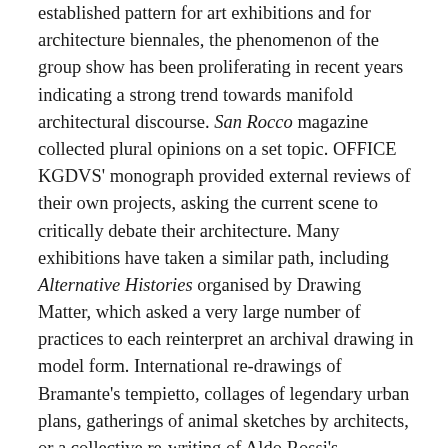established pattern for art exhibitions and for architecture biennales, the phenomenon of the group show has been proliferating in recent years indicating a strong trend towards manifold architectural discourse. San Rocco magazine collected plural opinions on a set topic. OFFICE KGDVS' monograph provided external reviews of their own projects, asking the current scene to critically debate their architecture. Many exhibitions have taken a similar path, including Alternative Histories organised by Drawing Matter, which asked a very large number of practices to each reinterpret an archival drawing in model form. International re-drawings of Bramante's tempietto, collages of legendary urban plans, gatherings of animal sketches by architects, or a collective re-writing of Aldo Rossi's Architecture of the City (for which I take the blame, by the way) nourish this world of 'classroom' exercises. These constellations often leave the reader slightly frustrated. They open up a very broad array of opinions and possibilities but refrain from a sustained narrative. In other words, maybe this format should become less pervasive, and should not substitute all